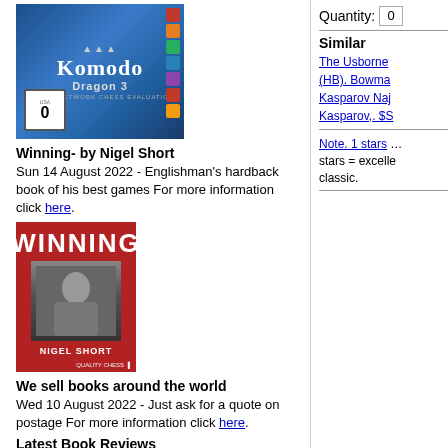[Figure (photo): Komodo Dragon 3 chess software box/DVD cover with blue background and dragon imagery]
Winning- by Nigel Short
Sun 14 August 2022 - Englishman's hardback book of his best games For more information click here.
[Figure (photo): Book cover of 'Winning' by Nigel Short, red cover with title and author photo, published by Quality Chess]
We sell books around the world
Wed 10 August 2022 - Just ask for a quote on postage For more information click here.
Latest Book Reviews
Quantity: 0
Similar
The Usborne (HB). Bowma Kasparov Naj Kasparov,. $S
Note. 1 stars … stars = excelle classic.